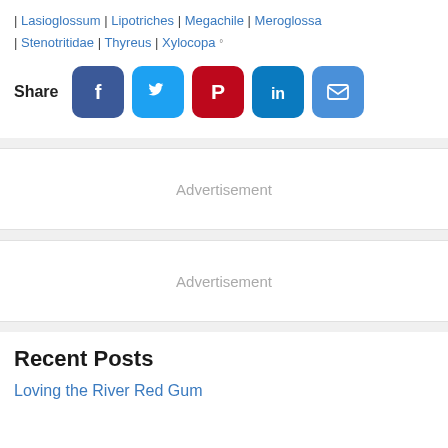| Lasioglossum | Lipotriches | Megachile | Meroglossa | Stenotritidae | Thyreus | Xylocopa °
Share
[Figure (infographic): Social share buttons: Facebook (blue), Twitter (light blue), Pinterest (red), LinkedIn (teal), Email (blue)]
Advertisement
Advertisement
Recent Posts
Loving the River Red Gum